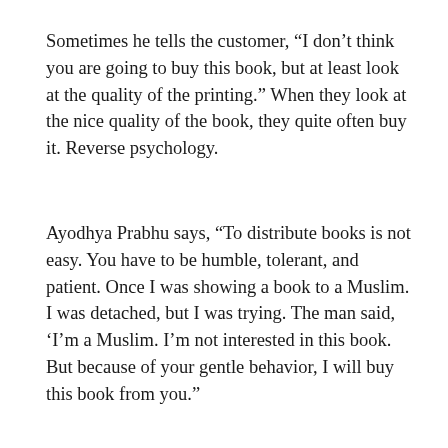Sometimes he tells the customer, “I don’t think you are going to buy this book, but at least look at the quality of the printing.” When they look at the nice quality of the book, they quite often buy it. Reverse psychology.
Ayodhya Prabhu says, “To distribute books is not easy. You have to be humble, tolerant, and patient. Once I was showing a book to a Muslim. I was detached, but I was trying. The man said, ‘I’m a Muslim. I’m not interested in this book. But because of your gentle behavior, I will buy this book from you.”